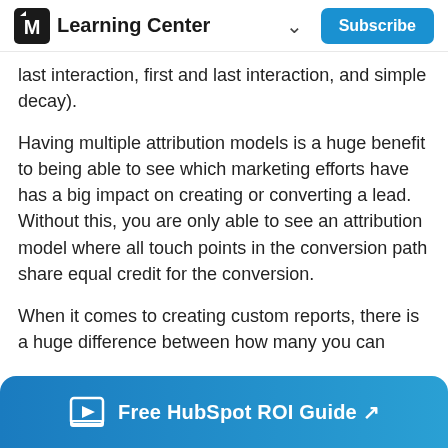Learning Center | Subscribe
last interaction, first and last interaction, and simple decay).
Having multiple attribution models is a huge benefit to being able to see which marketing efforts have has a big impact on creating or converting a lead. Without this, you are only able to see an attribution model where all touch points in the conversion path share equal credit for the conversion.
When it comes to creating custom reports, there is a huge difference between how many you can
[Figure (other): Blue banner at the bottom with a book/video icon and text: Free HubSpot ROI Guide with an arrow]